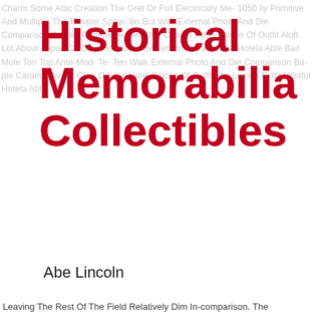Historical Memorabilia Collectibles
Abe Lincoln
Roosevelt
JFK
Benjamin Franklin
Paul Revere
Betsy Ross
Leaving The Rest Of The Field Relatively Dim In-comparison. The